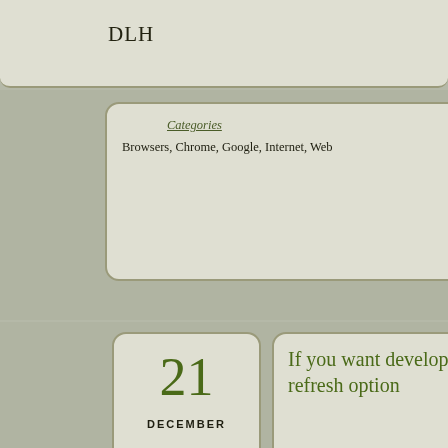DLH
Categories
Browsers, Chrome, Google, Internet, Web
Tags
cloud, Google, local, network access
CO
21
DECEMBER
If you want developers to adopt your browser, include a hard refresh option
Posted at December 21, 2010 by d
I love Google's Chrome browser because it is, so far, the best and most stable out there (thanks to Netscape, Microsoft, and Mozilla blazing a path for it).
I do have a problem, though, with the fact that Chrome does not have a hard refresh option for web pages. This makes checking certain kinds of changes to web pages almost impossible without switching to another browser or by clearing Chrome's cache. From a developer point of view, neither of those solutions lend me to using Chrome for development work, which is unfortunate given how good the browser is otherwise.
So here's my suggestion to the good folks at the Chromium development project, if you're bothering to listen: add a hard refresh feature to Chrome. I would even